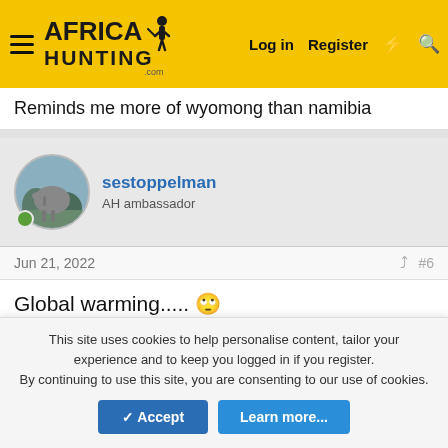AfricaHunting.com — Log in | Register
Reminds me more of wyomong than namibia
sestoppelman — AH ambassador
Jun 21, 2022  #6
Global warming..... 🙄
👍 🤣 Neil Molendyk, TroyF and meigsbucks
sestoppelman — AH ambassador
This site uses cookies to help personalise content, tailor your experience and to keep you logged in if you register. By continuing to use this site, you are consenting to our use of cookies.